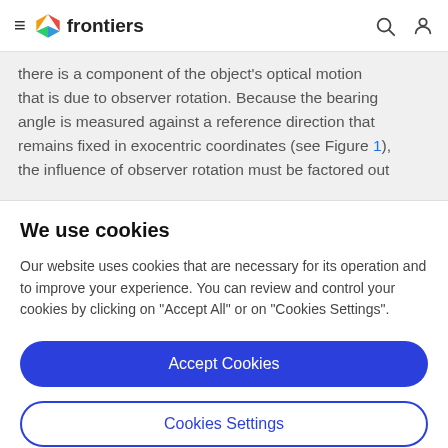frontiers
there is a component of the object's optical motion that is due to observer rotation. Because the bearing angle is measured against a reference direction that remains fixed in exocentric coordinates (see Figure 1), the influence of observer rotation must be factored out
We use cookies
Our website uses cookies that are necessary for its operation and to improve your experience. You can review and control your cookies by clicking on "Accept All" or on "Cookies Settings".
Accept Cookies
Cookies Settings